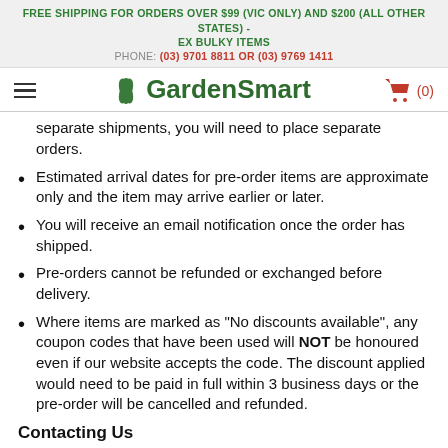FREE SHIPPING FOR ORDERS OVER $99 (VIC ONLY) AND $200 (ALL OTHER STATES) - EX BULKY ITEMS
PHONE: (03) 9701 8811 OR (03) 9769 1411
[Figure (logo): GardenSmart logo with green leaf icon and text, hamburger menu icon on left, shopping cart icon on right showing (0)]
separate shipments, you will need to place separate orders.
Estimated arrival dates for pre-order items are approximate only and the item may arrive earlier or later.
You will receive an email notification once the order has shipped.
Pre-orders cannot be refunded or exchanged before delivery.
Where items are marked as "No discounts available", any coupon codes that have been used will NOT be honoured even if our website accepts the code. The discount applied would need to be paid in full within 3 business days or the pre-order will be cancelled and refunded.
Contacting Us